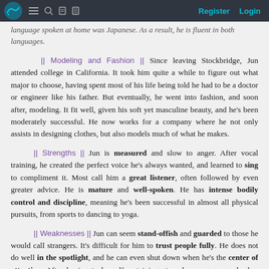Register  Login
language spoken at home was Japanese. As a result, he is fluent in both languages.
|| Modeling and Fashion || Since leaving Stockbridge, Jun attended college in California. It took him quite a while to figure out what major to choose, having spent most of his life being told he had to be a doctor or engineer like his father. But eventually, he went into fashion, and soon after, modeling. It fit well, given his soft yet masculine beauty, and he's been moderately successful. He now works for a company where he not only assists in designing clothes, but also models much of what he makes.
|| Strengths || Jun is measured and slow to anger. After vocal training, he created the perfect voice he's always wanted, and learned to sing to compliment it. Most call him a great listener, often followed by even greater advice. He is mature and well-spoken. He has intense bodily control and discipline, meaning he's been successful in almost all physical pursuits, from sports to dancing to yoga.
|| Weaknesses || Jun can seem stand-offish and guarded to those he would call strangers. It's difficult for him to trust people fully. He does not do well in the spotlight, and he can even shut down when he's the center of attention. After having to be self-sustaining at such a young age, he has trouble asking for help even when he really needs it.